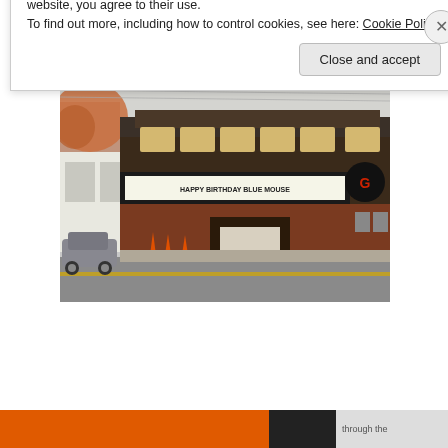Blue Mouse Theatre's Susan Evans
[Figure (photo): Exterior photo of the Blue Mouse Theatre building, a two-story brick structure with a marquee reading 'HAPPY BIRTHDAY BLUE MOUSE'. Orange traffic cones are visible in the foreground parking area.]
Privacy & Cookies: This site uses cookies. By continuing to use this website, you agree to their use.
To find out more, including how to control cookies, see here: Cookie Policy